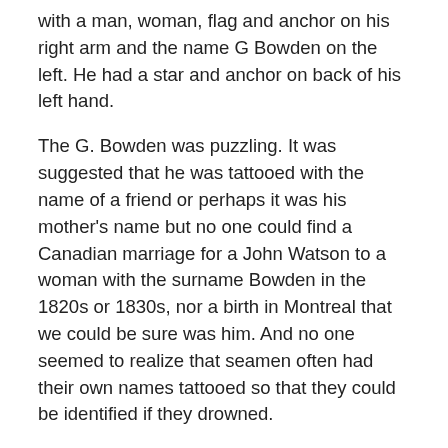with a man, woman, flag and anchor on his right arm and the name G Bowden on the left. He had a star and anchor on back of his left hand.
The G. Bowden was puzzling. It was suggested that he was tattooed with the name of a friend or perhaps it was his mother's name but no one could find a Canadian marriage for a John Watson to a woman with the surname Bowden in the 1820s or 1830s, nor a birth in Montreal that we could be sure was him. And no one seemed to realize that seamen often had their own names tattooed so that they could be identified if they drowned.
Over the years, at various stages, Mum, Norma and I have looked at every William or George Bowden or Watson who died in Australia who fitted his age roughly from 1874 up to 1930. I have searched asylum and hospital records in